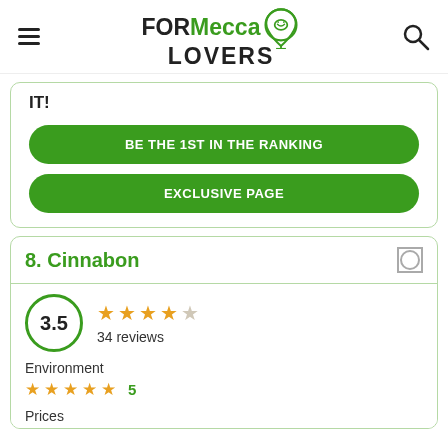FORMecca LOVERS
IT!
BE THE 1ST IN THE RANKING
EXCLUSIVE PAGE
8. Cinnabon
3.5 — 34 reviews
Environment — 5 stars — 5
Prices